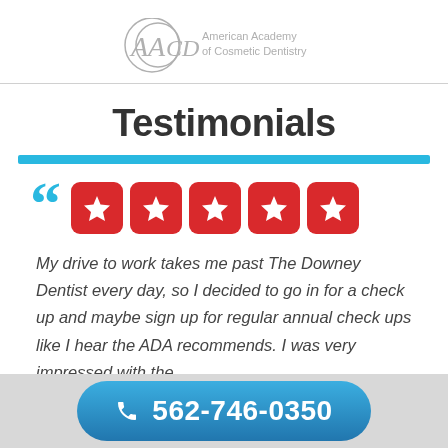[Figure (logo): American Academy of Cosmetic Dentistry logo with stylized AACD letters in gray and text to the right]
Testimonials
[Figure (infographic): Cyan open-quote mark followed by 5 red star rating boxes]
My drive to work takes me past The Downey Dentist every day, so I decided to go in for a check up and maybe sign up for regular annual check ups like I hear the ADA recommends. I was very impressed with the
562-746-0350